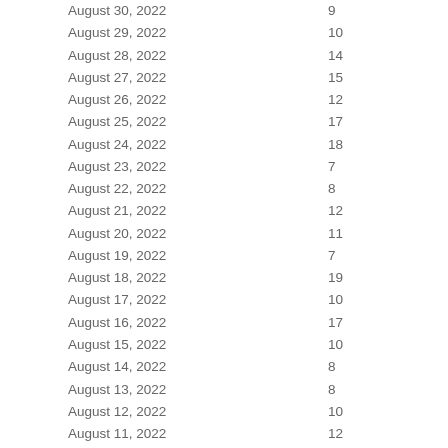| Date | Value |
| --- | --- |
| August 30, 2022 | 9 |
| August 29, 2022 | 10 |
| August 28, 2022 | 14 |
| August 27, 2022 | 15 |
| August 26, 2022 | 12 |
| August 25, 2022 | 17 |
| August 24, 2022 | 18 |
| August 23, 2022 | 7 |
| August 22, 2022 | 8 |
| August 21, 2022 | 12 |
| August 20, 2022 | 11 |
| August 19, 2022 | 7 |
| August 18, 2022 | 19 |
| August 17, 2022 | 10 |
| August 16, 2022 | 17 |
| August 15, 2022 | 10 |
| August 14, 2022 | 8 |
| August 13, 2022 | 8 |
| August 12, 2022 | 10 |
| August 11, 2022 | 12 |
| August 10, 2022 | 5 |
| August 9, 2022 | 11 |
| August 8, 2022 | 7 |
| August 7, 2022 | ... |